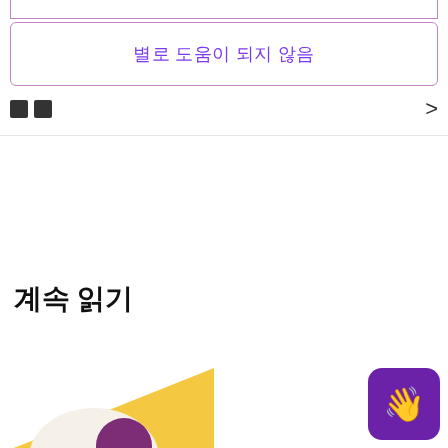[Figure (screenshot): Top partial border/bar element (cropped UI element from top of page)]
별로 도움이 되지 않음
□□
계속 읽기
[Figure (illustration): Partial card with yellow/orange triangular background and a dark purple circular shape, partially visible at bottom of page]
[Figure (illustration): Purple rounded square button with waving hand emoji in bottom right corner]